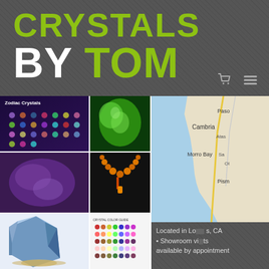CRYSTALS BY TOM
[Figure (screenshot): Website screenshot of Crystals By Tom showing a collage of crystal/gem images on the left and a Google Maps view of the California coast on the right, with text 'Located in Los Angeles, CA • Showroom visits available by appointment']